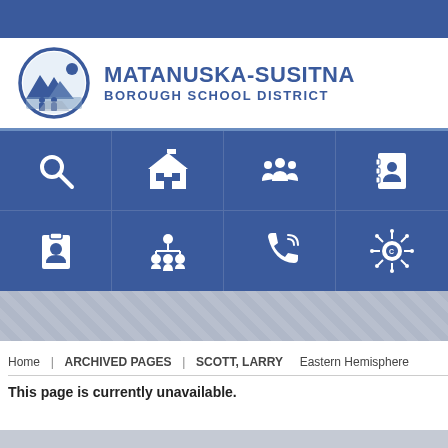[Figure (logo): Matanuska-Susitna Borough School District logo with circular emblem showing mountains and figures]
[Figure (infographic): 2x4 grid of white icons on blue background: search, school building, group of people, address book, ID badge, organizational chart, phone, coronavirus/virus]
Home | ARCHIVED PAGES | SCOTT, LARRY   Eastern Hemisphere
This page is currently unavailable.